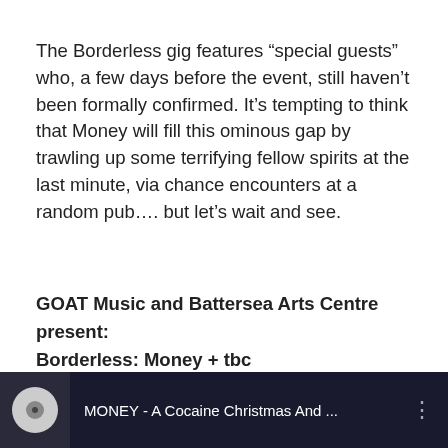The Borderless gig features “special guests” who, a few days before the event, still haven’t been formally confirmed. It’s tempting to think that Money will fill this ominous gap by trawling up some terrifying fellow spirits at the last minute, via chance encounters at a random pub…. but let’s wait and see.
GOAT Music and Battersea Arts Centre present: Borderless: Money + tbc
Battersea Arts Centre, Lavender Hill, Battersea, London, SW11 5TN, England
Wednesday 3rd August 2016, 8.00pm – information
[Figure (screenshot): YouTube video thumbnail showing MONEY - A Cocaine Christmas And ... with a dark background and circular profile image]